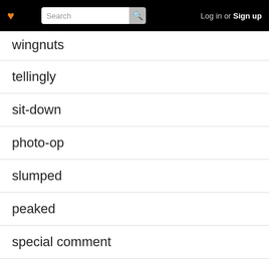wingnuts | tellingly | sit-down | photo-op | slumped | peaked | special comment | staunch | respondents
wingnuts
tellingly
sit-down
photo-op
slumped
peaked
special comment
staunch
respondents